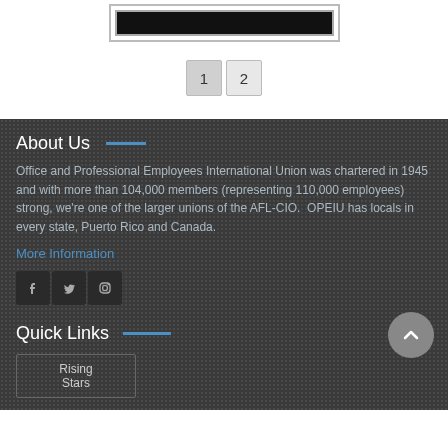[Figure (screenshot): Black image/video placeholder with gray border at top of page]
1  2
About Us
Office and Professional Employees International Union was chartered in 1945 and with more than 104,000 members (representing 110,000 employees) strong, we're one of the larger unions of the AFL-CIO.  OPEIU has locals in every state, Puerto Rico and Canada.
More Information
[Figure (illustration): Social media icons: Facebook, Twitter, Instagram]
Quick Links
Rising Stars